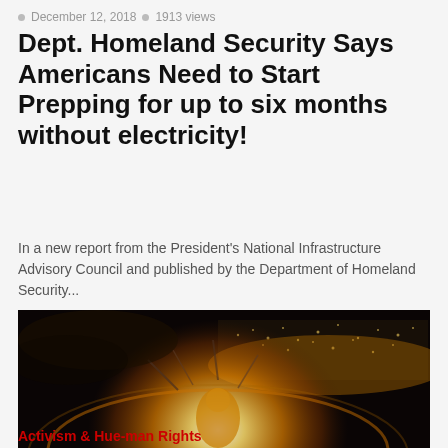December 12, 2018 • 1913 views
Dept. Homeland Security Says Americans Need to Start Prepping for up to six months without electricity!
In a new report from the President's National Infrastructure Advisory Council and published by the Department of Homeland Security...
[Figure (illustration): Dramatic artistic rendering of an EMP or nuclear explosion over a city, showing a large shockwave/blast with orange glow, with city skyscrapers visible in the lower right and a dark sky with scattered lights across a landscape.]
Activism & Hue-man Rights